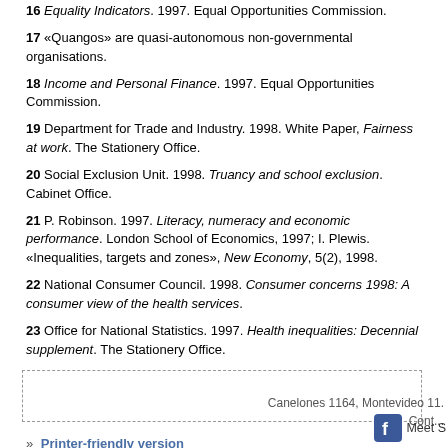16 Equality Indicators. 1997. Equal Opportunities Commission.
17 «Quangos» are quasi-autonomous non-governmental organisations.
18 Income and Personal Finance. 1997. Equal Opportunities Commission.
19 Department for Trade and Industry. 1998. White Paper, Fairness at work. The Stationery Office.
20 Social Exclusion Unit. 1998. Truancy and school exclusion. Cabinet Office.
21 P. Robinson. 1997. Literacy, numeracy and economic performance. London School of Economics, 1997; I. Plewis. «Inequalities, targets and zones», New Economy, 5(2), 1998.
22 National Consumer Council. 1998. Consumer concerns 1998: A consumer view of the health services.
23 Office for National Statistics. 1997. Health inequalities: Decennial supplement. The Stationery Office.
» Printer-friendly version
Canelones 1164, Montevideo 11. Cont... Meet S...